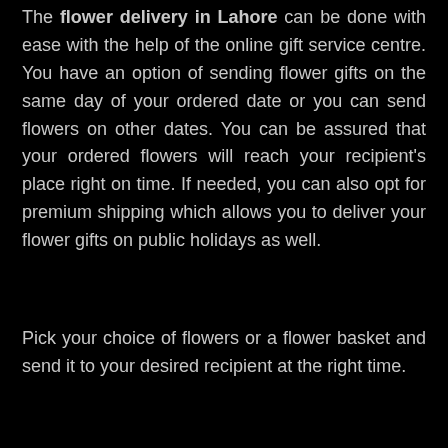The flower delivery in Lahore can be done with ease with the help of the online gift service centre. You have an option of sending flower gifts on the same day of your ordered date or you can send flowers on other dates. You can be assured that your ordered flowers will reach your recipient's place right on time. If needed, you can also opt for premium shipping which allows you to deliver your flower gifts on public holidays as well.
Pick your choice of flowers or a flower basket and send it to your desired recipient at the right time.